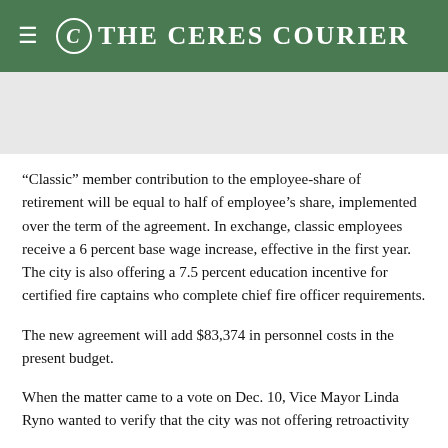The Ceres Courier
“Classic” member contribution to the employee-share of retirement will be equal to half of employee’s share, implemented over the term of the agreement. In exchange, classic employees receive a 6 percent base wage increase, effective in the first year. The city is also offering a 7.5 percent education incentive for certified fire captains who complete chief fire officer requirements.
The new agreement will add $83,374 in personnel costs in the present budget.
When the matter came to a vote on Dec. 10, Vice Mayor Linda Ryno wanted to verify that the city was not offering retroactivity